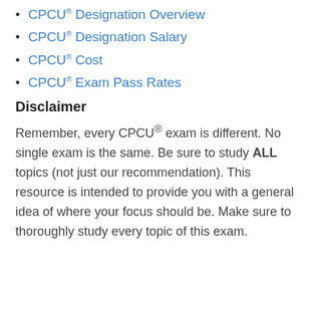CPCU® Designation Overview
CPCU® Designation Salary
CPCU® Cost
CPCU® Exam Pass Rates
Disclaimer
Remember, every CPCU® exam is different. No single exam is the same. Be sure to study ALL topics (not just our recommendation). This resource is intended to provide you with a general idea of where your focus should be. Make sure to thoroughly study every topic of this exam.